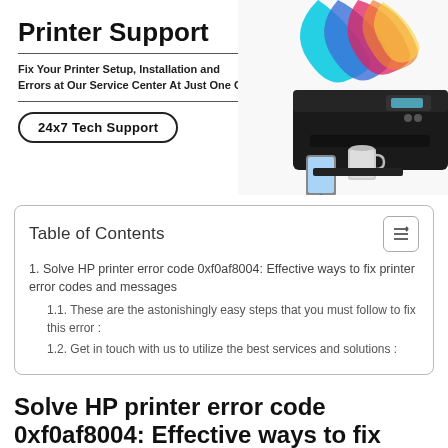[Figure (illustration): Printer Support banner with a printer, coffee mug, smartphone, and colorful paper sheets. Text: Printer Support, Fix Your Printer Setup, Installation and Errors at Our Service Center At Just One Call, 24x7 Tech Support button.]
Printer Support
Fix Your Printer Setup, Installation and Errors at Our Service Center At Just One Call
24x7 Tech Support
| Table of Contents |
| 1. Solve HP printer error code 0xf0af8004: Effective ways to fix printer error codes and messages |
| 1.1. These are the astonishingly easy steps that you must follow to fix this error : |
| 1.2. Get in touch with us to utilize the best services and solutions : |
Solve HP printer error code 0xf0af8004: Effective ways to fix